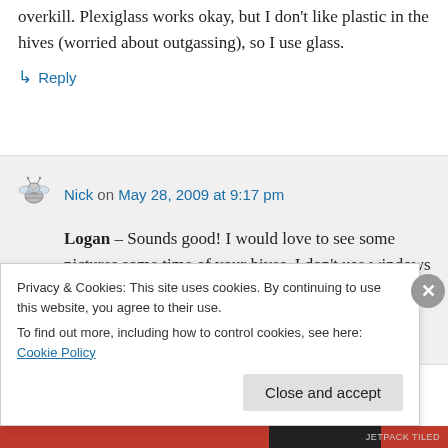overkill. Plexiglass works okay, but I don't like plastic in the hives (worried about outgassing), so I use glass.
↳ Reply
Nick on May 28, 2009 at 9:17 pm
Logan – Sounds good! I would love to see some pictures some time of your hives. I don't use windows that much, (not
Privacy & Cookies: This site uses cookies. By continuing to use this website, you agree to their use.
To find out more, including how to control cookies, see here: Cookie Policy
Close and accept